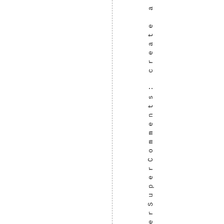erSuperComments: create a new dyna